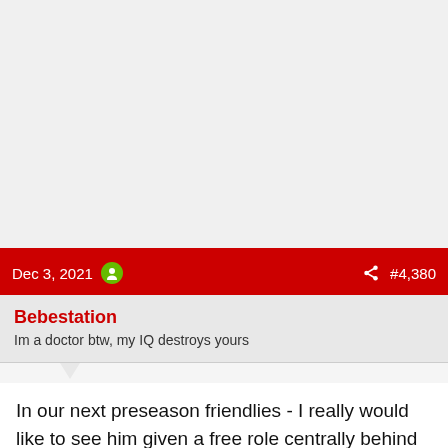Dec 3, 2021  #4,380
Bebestation
Im a doctor btw, my IQ destroys yours
In our next preseason friendlies - I really would like to see him given a free role centrally behind two forwards.
A free role almost letting him choose the RW Or LW channel